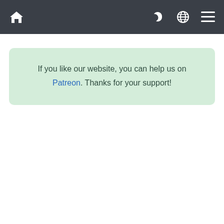Navigation bar with home, moon/dark-mode, globe, and menu icons
If you like our website, you can help us on Patreon. Thanks for your support!